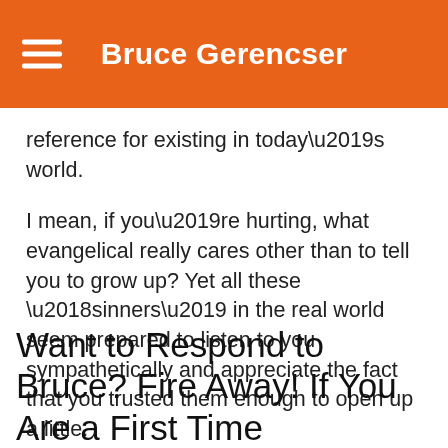Bruce Gerencser
reference for existing in today’s world.
I mean, if you’re hurting, what evangelical really cares other than to tell you to grow up? Yet all these ‘sinners’ in the real world seem prepared to listen to you sympathetically and appreciate the fact that you trusted them enough to open up a little.
Want to Respond to Bruce? Fire Away! If You Are a First Time